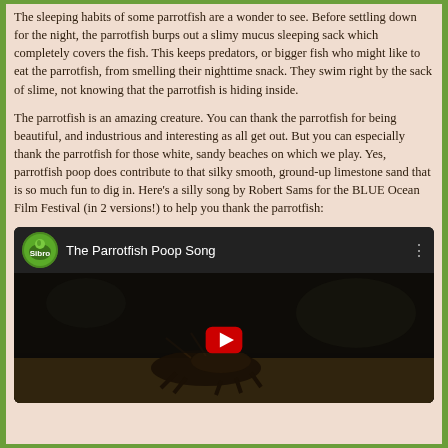The sleeping habits of some parrotfish are a wonder to see. Before settling down for the night, the parrotfish burps out a slimy mucus sleeping sack which completely covers the fish. This keeps predators, or bigger fish who might like to eat the parrotfish, from smelling their nighttime snack. They swim right by the sack of slime, not knowing that the parrotfish is hiding inside.
The parrotfish is an amazing creature. You can thank the parrotfish for being beautiful, and industrious and interesting as all get out. But you can especially thank the parrotfish for those white, sandy beaches on which we play. Yes, parrotfish poop does contribute to that silky smooth, ground-up limestone sand that is so much fun to dig in. Here's a silly song by Robert Sams for the BLUE Ocean Film Festival (in 2 versions!) to help you thank the parrotfish:
[Figure (screenshot): YouTube video embed showing 'The Parrotfish Poop Song' with a Sibro channel logo, dark thumbnail of a fish on sand, and a red play button in the center.]